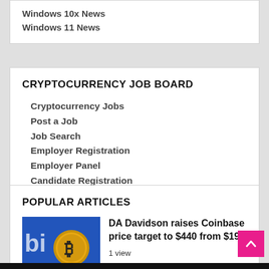Windows 10x News
Windows 11 News
CRYPTOCURRENCY JOB BOARD
Cryptocurrency Jobs
Post a Job
Job Search
Employer Registration
Employer Panel
Candidate Registration
Candidate Panel
POPULAR ARTICLES
[Figure (photo): Bitcoin coin on blue background (Coinbase branding)]
DA Davidson raises Coinbase price target to $440 from $195
1 view